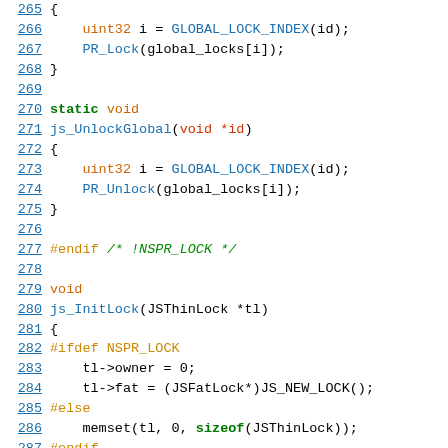Source code listing lines 265-287, C/JavaScript engine code showing lock/unlock functions
[Figure (screenshot): Code listing showing C source code for js_UnlockGlobal and js_InitLock functions with line numbers 265-287, syntax highlighted with blue line numbers, green keywords, orange types, and red parameters.]